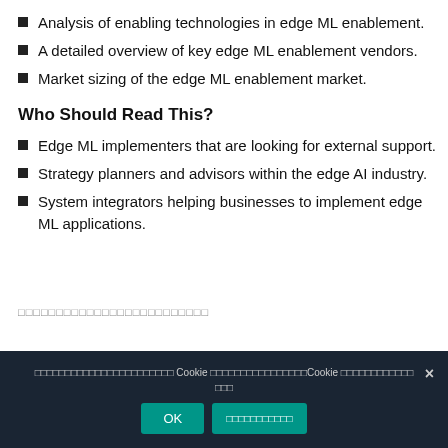Analysis of enabling technologies in edge ML enablement.
A detailed overview of key edge ML enablement vendors.
Market sizing of the edge ML enablement market.
Who Should Read This?
Edge ML implementers that are looking for external support.
Strategy planners and advisors within the edge AI industry.
System integrators helping businesses to implement edge ML applications.
□□□□□□□□□□□□□□□□□□□□□□□□□
□□□□□□□□□□□□□□□□□□□□□□□ Cookie □□□□□□□□□□□□□□□□Cookie □□□□□□□□□□□□ □□□  OK  □□□□□□□□□□□